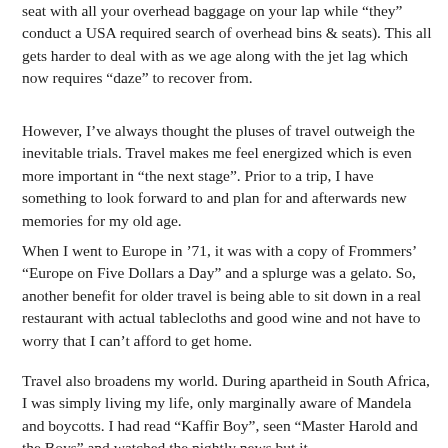seat with all your overhead baggage on your lap while "they" conduct a USA required search of overhead bins & seats). This all gets harder to deal with as we age along with the jet lag which now requires "daze" to recover from.
However, I've always thought the pluses of travel outweigh the inevitable trials. Travel makes me feel energized which is even more important in "the next stage". Prior to a trip, I have something to look forward to and plan for and afterwards new memories for my old age.
When I went to Europe in '71, it was with a copy of Frommers' "Europe on Five Dollars a Day" and a splurge was a gelato. So, another benefit for older travel is being able to sit down in a real restaurant with actual tablecloths and good wine and not have to worry that I can't afford to get home.
Travel also broadens my world. During apartheid in South Africa, I was simply living my life, only marginally aware of Mandela and boycotts. I had read "Kaffir Boy", seen "Master Harold and the Boys" and watched the nightly news but it